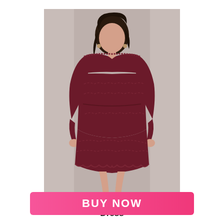[Figure (photo): A woman wearing a burgundy lace off-the-shoulder long-sleeve short dress, standing against a light gray background. The dress features intricate lace patterns throughout including the bodice, sleeves, and skirt with a scalloped hem.]
Burgundy Lace Strapless Dress
BUY NOW